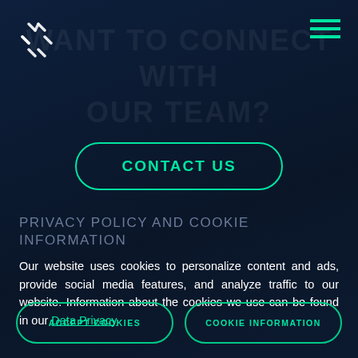[Figure (logo): X-shaped logo mark made of 4 diagonal dash pairs in white/light color]
[Figure (illustration): Hamburger menu icon — three horizontal green lines]
WANT TO CONNECT WITH OUR TEAM?
CONTACT US
PRIVACY POLICY AND COOKIE INFORMATION
Our website uses cookies to personalize content and ads, provide social media features, and analyze traffic to our website. Information about the cookies we use can be found in our Data Privacy
ACCEPT COOKIES
COOKIE INFORMATION